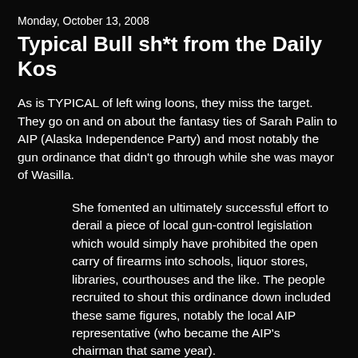Monday, October 13, 2008
Typical Bull sh*t from the Daily Kos
As is TYPICAL of left wing loons, they miss the target. They go on and on about the fantasy ties of Sarah Palin to AIP (Alaska Independence Party) and most notably the gun ordinance that didn't go through while she was mayor of Wasilla.
She fomented an ultimately successful effort to derail a piece of local gun-control legislation which would simply have prohibited the open carry of firearms into schools, liquor stores, libraries, courthouses and the like. The people recruited to shout this ordinance down included these same figures, notably the local AIP representative (who became the AIP's chairman that same year).